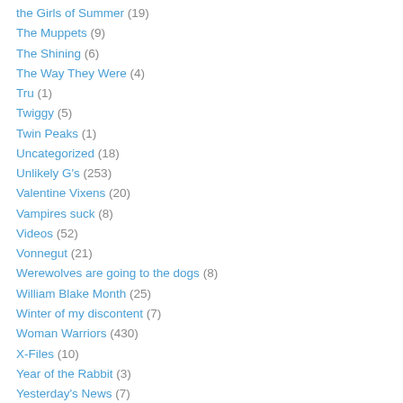the Girls of Summer (19)
The Muppets (9)
The Shining (6)
The Way They Were (4)
Tru (1)
Twiggy (5)
Twin Peaks (1)
Uncategorized (18)
Unlikely G's (253)
Valentine Vixens (20)
Vampires suck (8)
Videos (52)
Vonnegut (21)
Werewolves are going to the dogs (8)
William Blake Month (25)
Winter of my discontent (7)
Woman Warriors (430)
X-Files (10)
Year of the Rabbit (3)
Yesterday's News (7)